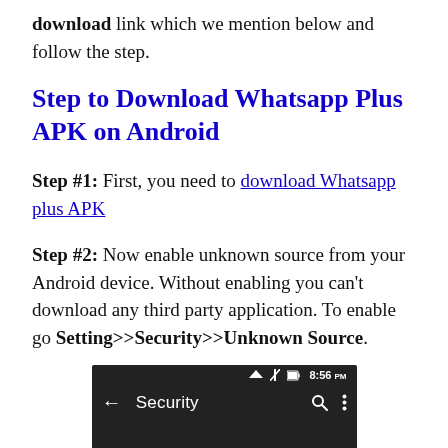download link which we mention below and follow the step.
Step to Download Whatsapp Plus APK on Android
Step #1: First, you need to download Whatsapp plus APK
Step #2: Now enable unknown source from your Android device. Without enabling you can’t download any third party application. To enable go Setting>>Security>>Unknown Source.
[Figure (screenshot): Android device screenshot showing Security settings screen with status bar showing 8:56 PM, wifi, airplane mode, and battery icons, and a navigation bar with back arrow, 'Security' title, search and menu icons.]